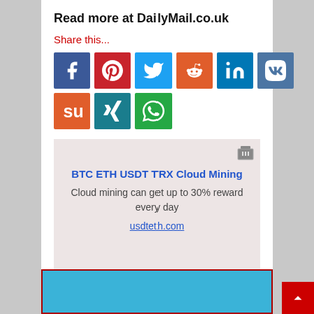Read more at DailyMail.co.uk
Share this...
[Figure (infographic): Social media sharing buttons: Facebook, Pinterest, Twitter, Reddit, LinkedIn, VK, StumbleUpon, Xing, WhatsApp]
[Figure (infographic): Advertisement banner: BTC ETH USDT TRX Cloud Mining - Cloud mining can get up to 30% reward every day - usdteth.com]
[Figure (photo): Partial image at bottom of page, blue background with partial object visible]
[Figure (other): Back to top button, red square with upward arrow]